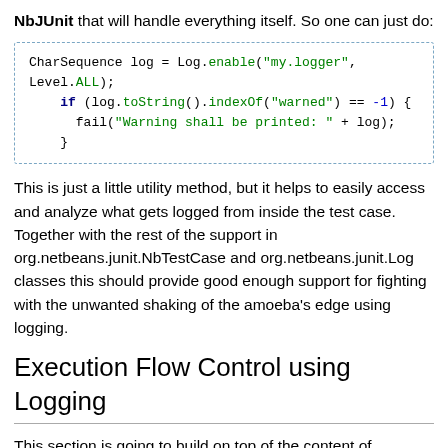NbJUnit that will handle everything itself. So one can just do:
CharSequence log = Log.enable("my.logger", Level.ALL);
    if (log.toString().indexOf("warned") == -1) {
      fail("Warning shall be printed: " + log);
    }
This is just a little utility method, but it helps to easily access and analyze what gets logged from inside the test case. Together with the rest of the support in org.netbeans.junit.NbTestCase and org.netbeans.junit.Log classes this should provide good enough support for fighting with the unwanted shaking of the amoeba's edge using logging.
Execution Flow Control using Logging
This section is going to build on top of the content of previous description of logging support and on sections that were discussing testing for race conditions and tests that try to